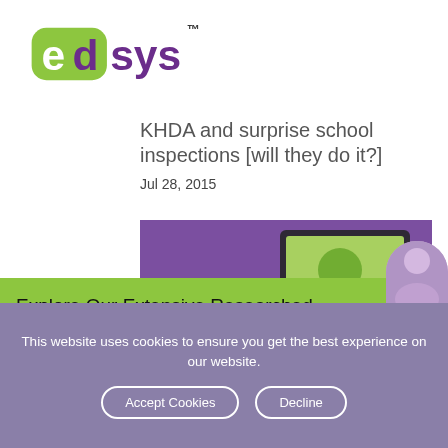[Figure (logo): edsys logo — green 'ed' and purple 'sys' with TM mark]
KHDA and surprise school inspections [will they do it?]
Jul 28, 2015
[Figure (photo): Purple background with a tablet/computer device showing educational app]
Explore Our Extensive Researched Educational App Directory
This website uses cookies to ensure you get the best experience on our website.
Accept Cookies   Decline